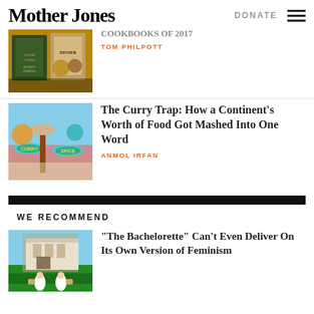Mother Jones
DONATE
[Figure (screenshot): Mother Jones website screenshot with article listings]
COOKBOOKS OF 2017
TOM PHILPOTT
The Curry Trap: How a Continent's Worth of Food Got Mashed Into One Word
ANMOL IRFAN
WE RECOMMEND
“The Bachelorette” Can’t Even Deliver On Its Own Version of Feminism